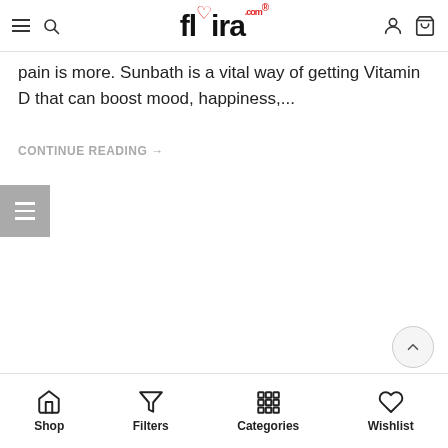flyira.com
pain is more. Sunbath is a vital way of getting Vitamin D that can boost mood, happiness,...
CONTINUE READING →
[Figure (other): Sidebar toggle button with hamburger icon on grey background]
[Figure (other): Scroll to top chevron button]
Shop  Filters  Categories  Wishlist